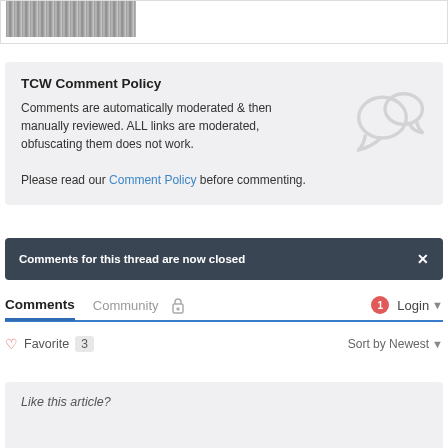[Figure (photo): Partial grayscale image strip at top of page]
TCW Comment Policy
Comments are automatically moderated & then manually reviewed. ALL links are moderated, obfuscating them does not work.
Please read our Comment Policy before commenting.
Comments for this thread are now closed
Comments  Community  🔒  1  Login
♡ Favorite  3  Sort by Newest